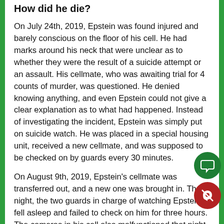How did he die?
On July 24th, 2019, Epstein was found injured and barely conscious on the floor of his cell. He had marks around his neck that were unclear as to whether they were the result of a suicide attempt or an assault. His cellmate, who was awaiting trial for 4 counts of murder, was questioned. He denied knowing anything, and even Epstein could not give a clear explanation as to what had happened. Instead of investigating the incident, Epstein was simply put on suicide watch. He was placed in a special housing unit, received a new cellmate, and was supposed to be checked on by guards every 30 minutes.
On August 9th, 2019, Epstein's cellmate was transferred out, and a new one was brought in. That night, the two guards in charge of watching Epstein fell asleep and failed to check on him for three hours. The cameras in his cell also malfunctioned that night. Epste...